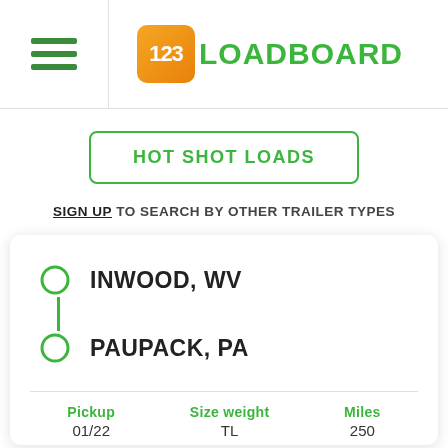[Figure (logo): 123Loadboard logo with orange box containing '123' and green text 'LOADBOARD']
HOT SHOT LOADS
SIGN UP TO SEARCH BY OTHER TRAILER TYPES
INWOOD, WV → PAUPACK, PA
| Pickup | Size weight | Miles |
| --- | --- | --- |
| 01/22 | TL | 250 |